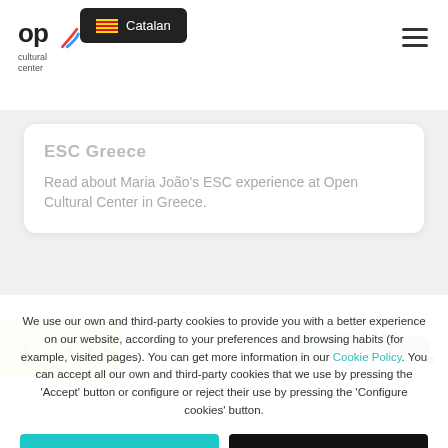Open Cultural Center — Catalan language selector and navigation
ESC Greece
Read about Maria João's ESC experience at Open Cultural Center in Greece.
[Figure (photo): Partial image strip showing colorful illustrated items on a white background with yellows and greens]
We use our own and third-party cookies to provide you with a better experience on our website, according to your preferences and browsing habits (for example, visited pages). You can get more information in our Cookie Policy. You can accept all our own and third-party cookies that we use by pressing the 'Accept' button or configure or reject their use by pressing the 'Configure cookies' button.